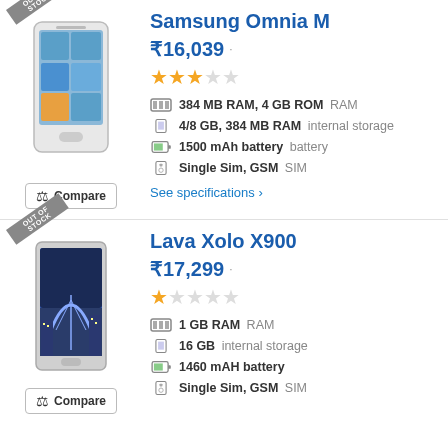[Figure (photo): Samsung Omnia M smartphone product photo with 'Out of Stock' badge]
Samsung Omnia M
₹16,039
[Figure (other): 2.5 out of 5 star rating]
384 MB RAM, 4 GB ROM RAM
4/8 GB, 384 MB RAM internal storage
1500 mAh battery battery
Single Sim, GSM SIM
See specifications ›
[Figure (photo): Lava Xolo X900 smartphone product photo with 'Out of Stock' badge]
Lava Xolo X900
₹17,299
[Figure (other): 1 out of 5 star rating]
1 GB RAM RAM
16 GB internal storage
1460 mAH battery
Single Sim, GSM SIM